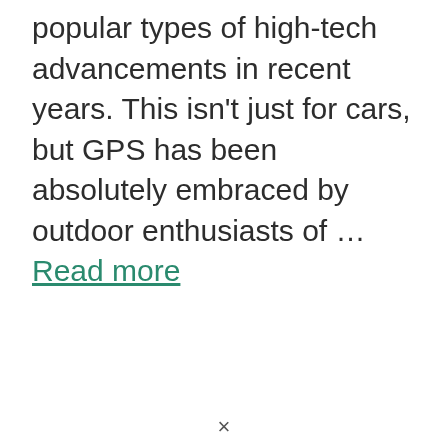popular types of high-tech advancements in recent years. This isn't just for cars, but GPS has been absolutely embraced by outdoor enthusiasts of … Read more